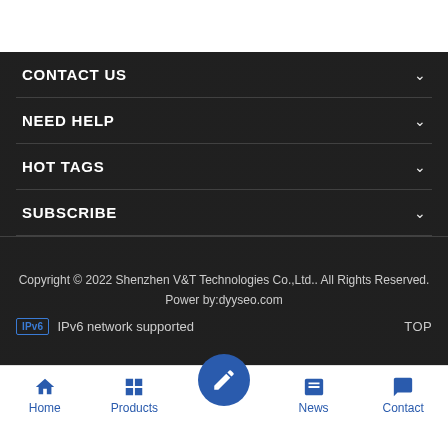CONTACT US
NEED HELP
HOT TAGS
SUBSCRIBE
Copyright © 2022 Shenzhen V&T Technologies Co.,Ltd.. All Rights Reserved. Power by:dyyseo.com
IPv6 network supported
TOP
Home  Products  News  Contact